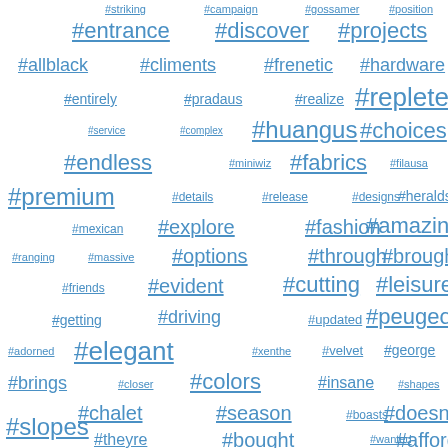[Figure (infographic): Tag cloud / word cloud of hashtags in varying font sizes, all in blue with underline, on white background. Tags include: #striking, #campaign, #gossamer, #position, #entrance, #discover, #projects, #allblack, #climents, #frenetic, #hardware, #entirely, #pradaus, #realize, #replete, #service, #complex, #huangus, #choices, #endless, #miniwiz, #fabrics, #filausa, #premium, #details, #release, #designs, #heralds, #mexican, #explore, #fashion, #amazing, #ranging, #massive, #options, #through, #brought, #friends, #evident, #cutting, #leisure, #getting, #driving, #updated, #peugeot, #adorned, #elegant, #xenthe, #velvet, #george, #brings, #closer, #colors, #insane, #shapes, #chalet, #season, #boasts, #doesnt, #theyre, #bought, #wanted, #afford, #slopes, #pieces, #jacket, #thatus, #prints, #colour, #hearts, #plants, #fusion, #older, #drive, #start, #large, #waste, #these]